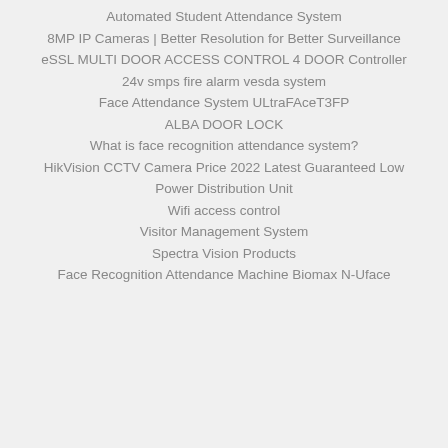Automated Student Attendance System
8MP IP Cameras | Better Resolution for Better Surveillance
eSSL MULTI DOOR ACCESS CONTROL 4 DOOR Controller
24v smps fire alarm vesda system
Face Attendance System ULtraFAceT3FP
ALBA DOOR LOCK
What is face recognition attendance system?
HikVision CCTV Camera Price 2022 Latest Guaranteed Low
Power Distribution Unit
Wifi access control
Visitor Management System
Spectra Vision Products
Face Recognition Attendance Machine Biomax N-Uface